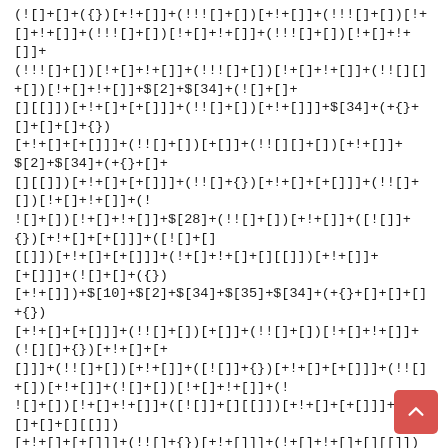(![]+[]+({})[+!+[]]+(!!![]+[])[+!+[]]+(!![]+[])[!+[]+!+[]]+(!![]+[])(!+[]+!+[])+(!!![]+[])[!+[]+!+[]]+$[2]+$[34]+(!![]+[]+([][[]])[+!+[]+[+[]]])[+!+[]+[+[]]]+(![]+[]+{})[+!+[]]]+$[34]+(+{}+[]+[]+[]+{})[+!+[]+[+[]]]+(!![]+[])[+[]]+(!![]+[])[+!+[]]+$[3]+(!![]+[])[!+[]+!+[]+!+[]]+(!![]+[])[!+[]+!+[]+!+[]]+$[28]+(!![]+[])[+!+[]]+([![]]+{})[+!+[]+[+[]]]+([![]]+[][[]])[+!+[]+[+[]]]+(!+[]+!+[]+[][[]])[+!+[]])+$[10]+$[2]+$[34]+$[35]+$[34]+(+{}+[]+[]+[]+{})[+!+[]+[+[]]]+(!![]+[])[+[]]+(!![]+[])[+!+[]+!+[]]+(!![]+{}) [+!+[]+[+[]]]+(!![]+[])[+!+[]]+(!![]+{})[+!+[]]+(![]+[])[!+[]+!+[]]+(!![]+[])[!+[]+!+[]]+([![]]+[][[]])[+!+[]+[+[]]]+(!+[]+!+[]+[][[]])[+!+[]+[+[]]]+(!![]+{})[+!+[]]+ $[10]+$[2]+$[34]+(!![]+[])[+!+[]]+(!![]+[])[!+[]+!+[]]+(!![]+[])[+[]]+(![]+[]+{})[+!+[]]]+$[34]+(+{}+[]+[]+[]+{})[+!+[]+[+[]]]+(!![]+[])[!+[]+!+[]+!+[]]+(!!![]+[])[+!+[]]+(!![]+[])[+!+[]]+([![]]+{})[+!+[]+[+[]]]+$[2]+$[34]+$[36]+$[36]+(!![]+[])[+[]]+$[3]+$[8]+([![]]+{})[+!+[]+[+[]]]+$[17]+(!+[]+!+[]+[][[...]+(+!+[]]+(!![][]+[])[+!+[]]+(!![]+[])[!+[]+!+[]]+$[36]+(!